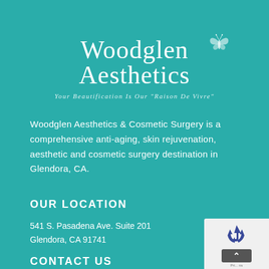[Figure (logo): Woodglen Aesthetics script logo with butterfly graphic and tagline 'Your Beautification Is Our "Raison De Vivre"']
Woodglen Aesthetics & Cosmetic Surgery is a comprehensive anti-aging, skin rejuvenation, aesthetic and cosmetic surgery destination in Glendora, CA.
OUR LOCATION
541 S. Pasadena Ave. Suite 201
Glendora, CA 91741
CONTACT US